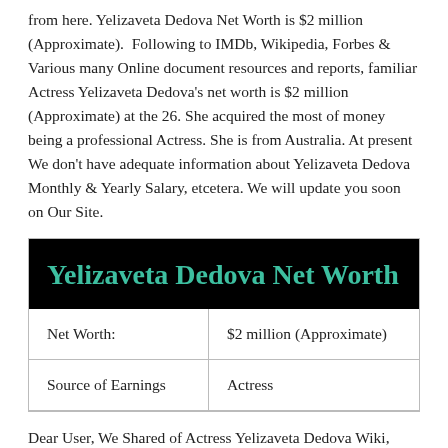from here. Yelizaveta Dedova Net Worth is $2 million (Approximate). Following to IMDb, Wikipedia, Forbes & Various many Online document resources and reports, familiar Actress Yelizaveta Dedova's net worth is $2 million (Approximate) at the 26. She acquired the most of money being a professional Actress. She is from Australia. At present We don't have adequate information about Yelizaveta Dedova Monthly & Yearly Salary, etcetera. We will update you soon on Our Site.
|  |  |
| --- | --- |
| Net Worth: | $2 million (Approximate) |
| Source of Earnings | Actress |
Dear User, We Shared of Actress Yelizaveta Dedova Wiki, Biography, Age, Height, Husband, Hot Photos details. Do you have any questions about her Biography and Wiki? Let me know in a comment. Please keep visit on this website for more Actress